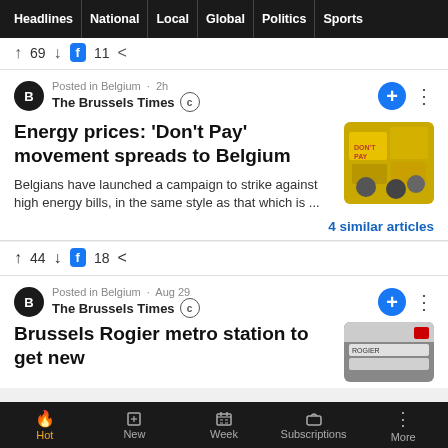Headlines | National | Local | Global | Politics | Sports
↑ 69 ↓ [f] 11 <
Posted in Belgium · 2h
The Brussels Times C
Energy prices: 'Don't Pay' movement spreads to Belgium
[Figure (photo): People holding yellow protest signs at a demonstration]
Belgians have launched a campaign to strike against high energy bills, in the same style as that which is ...
4 similar articles
↑ 44 ↓ [f] 18 <
Posted in Belgium · Aug 29
The Brussels Times C
Brussels Rogier metro station to get new
[Figure (photo): Image of Brussels Rogier metro station]
Hot | New | Week | Subscriptions | More